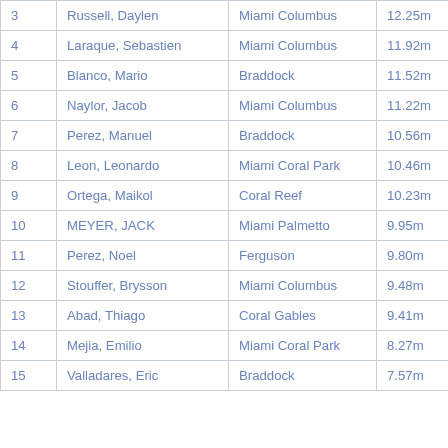|  | Name | School | Distance |
| --- | --- | --- | --- |
| 3 | Russell, Daylen | Miami Columbus | 12.25m |
| 4 | Laraque, Sebastien | Miami Columbus | 11.92m |
| 5 | Blanco, Mario | Braddock | 11.52m |
| 6 | Naylor, Jacob | Miami Columbus | 11.22m |
| 7 | Perez, Manuel | Braddock | 10.56m |
| 8 | Leon, Leonardo | Miami Coral Park | 10.46m |
| 9 | Ortega, Maikol | Coral Reef | 10.23m |
| 10 | MEYER, JACK | Miami Palmetto | 9.95m |
| 11 | Perez, Noel | Ferguson | 9.80m |
| 12 | Stouffer, Brysson | Miami Columbus | 9.48m |
| 13 | Abad, Thiago | Coral Gables | 9.41m |
| 14 | Mejia, Emilio | Miami Coral Park | 8.27m |
| 15 | Valladares, Eric | Braddock | 7.57m |